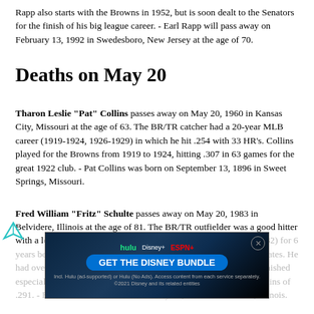Rapp also starts with the Browns in 1952, but is soon dealt to the Senators for the finish of his big league career. - Earl Rapp will pass away on February 13, 1992 in Swedesboro, New Jersey at the age of 70.
Deaths on May 20
Tharon Leslie "Pat" Collins passes away on May 20, 1960 in Kansas City, Missouri at the age of 63. The BR/TR catcher had a 20-year MLB career (1919-1924, 1926-1929) in which he hit .254 with 33 HR's. Collins played for the Browns from 1919 to 1924, hitting .307 in 63 games for the great 1922 club. - Pat Collins was born on September 13, 1896 in Sweet Springs, Missouri.
Fred William "Fritz" Schulte passes away on May 20, 1983 in Belvidere, Illinois at the age of 81. The BR/TR outfielder was a good hitter with a long MLB career (1927-1937). Fritz was a Brown (1927-1932) for 6 years before finishing his big league days with the Senators and Pirates. He had over 150 games for the Browns in 1930, more full years and finished especially batting around the .300 mark. Senators in 1933 with Collins of .291. - Fritz Schultz was born on January 13, 1901 in Belvidere, Illinois.